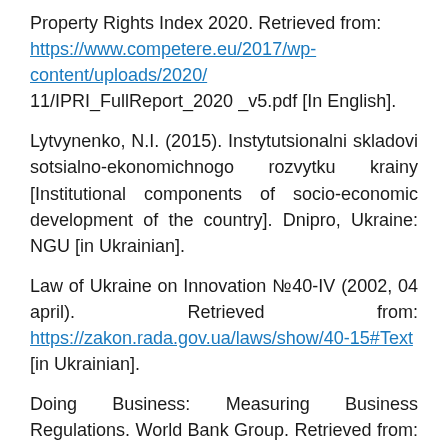Property Rights Index 2020. Retrieved from: https://www.competere.eu/2017/wp-content/uploads/2020/11/IPRI_FullReport_2020 _v5.pdf [In English].
Lytvynenko, N.I. (2015). Instytutsionalni skladovi sotsialno-ekonomichnogo rozvytku krainy [Institutional components of socio-economic development of the country]. Dnipro, Ukraine: NGU [in Ukrainian].
Law of Ukraine on Innovation №40-IV (2002, 04 april). Retrieved from: https://zakon.rada.gov.ua/laws/show/40-15#Text [in Ukrainian].
Doing Business: Measuring Business Regulations. World Bank Group. Retrieved from: http://www.doingbusiness.org/ [In English].
Soliar, V.V. (2020). Natsionalna konkurentospromozhnist: dialektyka kontseptsii [National competitiveness: the dialectic